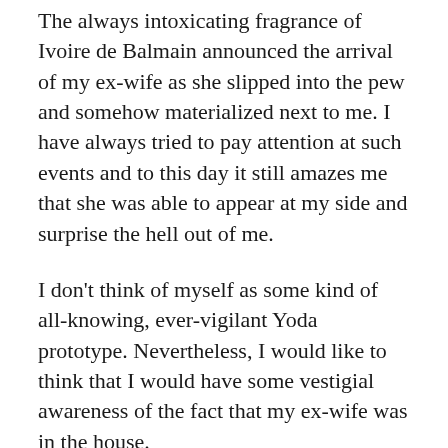The always intoxicating fragrance of Ivoire de Balmain announced the arrival of my ex-wife as she slipped into the pew and somehow materialized next to me. I have always tried to pay attention at such events and to this day it still amazes me that she was able to appear at my side and surprise the hell out of me.
I don't think of myself as some kind of all-knowing, ever-vigilant Yoda prototype. Nevertheless, I would like to think that I would have some vestigial awareness of the fact that my ex-wife was in the house.